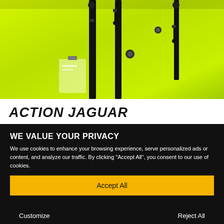[Figure (photo): Close-up of a high-visibility neon yellow/green safety jacket with black zippers and hardware details]
ACTION JAGUAR
WE VALUE YOUR PRIVACY
We use cookies to enhance your browsing experience, serve personalized ads or content, and analyze our traffic. By clicking "Accept All", you consent to our use of cookies.
Accept All
Customize
Reject All